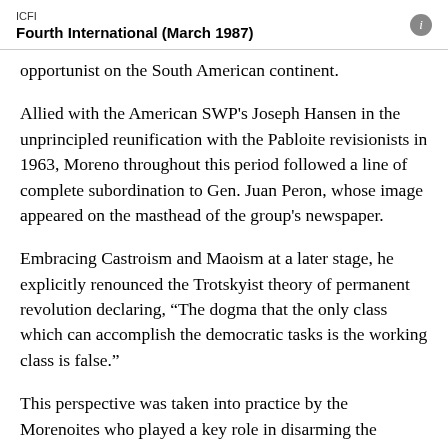ICFI
Fourth International (March 1987)
opportunist on the South American continent.
Allied with the American SWP's Joseph Hansen in the unprincipled reunification with the Pabloite revisionists in 1963, Moreno throughout this period followed a line of complete subordination to Gen. Juan Peron, whose image appeared on the masthead of the group's newspaper.
Embracing Castroism and Maoism at a later stage, he explicitly renounced the Trotskyist theory of permanent revolution declaring, “The dogma that the only class which can accomplish the democratic tasks is the working class is false.”
This perspective was taken into practice by the Morenoites who played a key role in disarming the working class and paving the way for the 1976 military